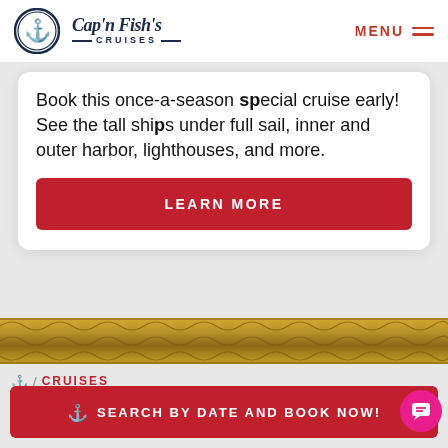[Figure (logo): Cap'n Fish's Cruises logo — anchor icon in blue circle, bold serif brand name, CRUISES in spaced caps]
MENU
Book this once-a-season special cruise early! See the tall ships under full sail, inner and outer harbor, lighthouses, and more.
LEARN MORE
[Figure (photo): Rope texture divider — twisted golden brown nautical rope spanning full width]
/ CRUISES
⚓  SEARCH BY DATE AND BOOK NOW!